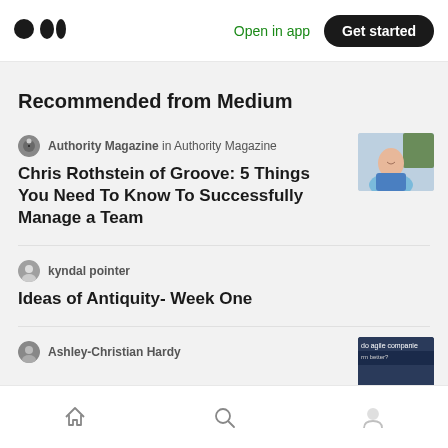Open in app  Get started
Recommended from Medium
Authority Magazine in Authority Magazine
Chris Rothstein of Groove: 5 Things You Need To Know To Successfully Manage a Team
[Figure (photo): Headshot of a man in a blue shirt smiling, with a plant in the background]
kyndal pointer
Ideas of Antiquity- Week One
Ashley-Christian Hardy
[Figure (screenshot): Thumbnail image with text 'do agile companies perform better?']
Home  Search  Profile